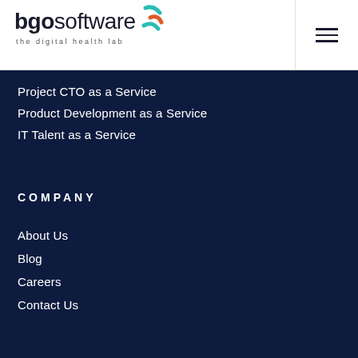[Figure (logo): BGO Software logo with teal and orange swoosh marks, text 'bgo software' and tagline 'the digital health lab']
Project CTO as a Service
Product Development as a Service
IT Talent as a Service
COMPANY
About Us
Blog
Careers
Contact Us